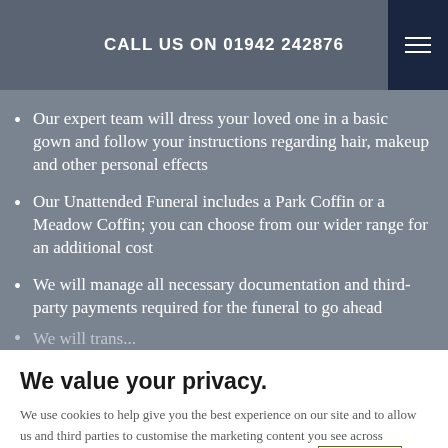CALL US ON 01942 242876
Our expert team will dress your loved one in a basic gown and follow your instructions regarding hair, makeup and other personal effects
Our Unattended Funeral includes a Park Coffin or a Meadow Coffin; you can choose from our wider range for an additional cost
We will manage all necessary documentation and third-party payments required for the funeral to go ahead
We value your privacy.
We use cookies to help give you the best experience on our site and to allow us and third parties to customise the marketing content you see across websites and social media. For more information see our Cookie Policy.